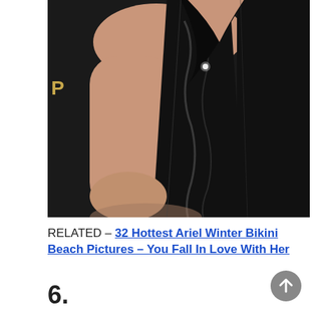[Figure (photo): Close-up photo of a woman in a deep V-neck black sequined dress at an event. The dark background shows partial text 'ART DIRECTO' and 'P' and 'GA' visible on banners.]
RELATED – 32 Hottest Ariel Winter Bikini Beach Pictures – You Fall In Love With Her
6.